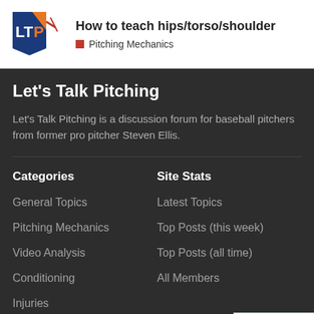How to teach hips/torso/shoulder — Pitching Mechanics
Let's Talk Pitching
Let's Talk Pitching is a discussion forum for baseball pitchers from former pro pitcher Steven Ellis.
Categories
General Topics
Pitching Mechanics
Video Analysis
Conditioning
Injuries
Logs
Site Stats
Latest Topics
Top Posts (this week)
Top Posts (all time)
All Members
37 / 37